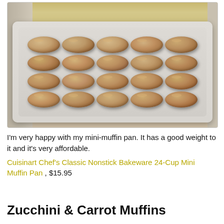[Figure (photo): A baking tray (mini muffin pan) filled with 20 baked zucchini and carrot mini muffins, golden-brown in color, arranged in a 4x5 grid on a white nonstick pan, sitting on a wooden countertop.]
I'm very happy with my mini-muffin pan. It has a good weight to it and it's very affordable. Cuisinart Chef's Classic Nonstick Bakeware 24-Cup Mini Muffin Pan , $15.95
Zucchini & Carrot Muffins